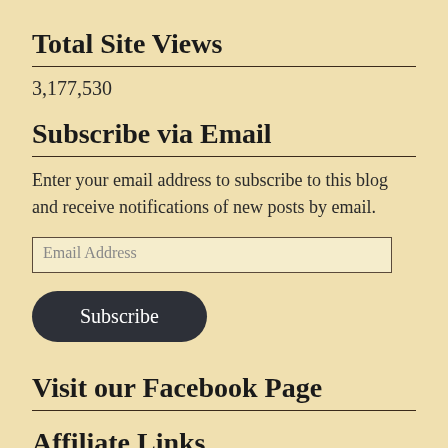Total Site Views
3,177,530
Subscribe via Email
Enter your email address to subscribe to this blog and receive notifications of new posts by email.
[Figure (screenshot): Email Address input field (text box) and Subscribe button]
Visit our Facebook Page
Affiliate Links